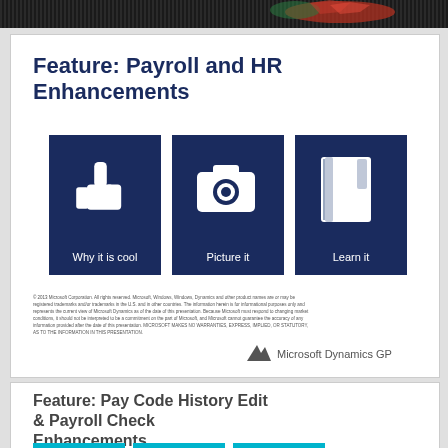[Figure (infographic): Decorative top banner with dark pixel pattern and red/green accent highlights]
Feature: Payroll and HR Enhancements
[Figure (infographic): Three dark navy blue icon boxes side by side: thumbs-up icon labeled 'Why it is cool', camera icon labeled 'Picture it', book icon labeled 'Learn it']
© 2013 Microsoft Corporation. All rights reserved. Microsoft, Windows, Windows, Dynamics and other product names are or may be registered trademarks and/or trademarks in the U.S. and in other countries. The information herein is for informational purposes only and represents the current view of Microsoft Dynamics as of the date of this presentation. Because Microsoft must respond to changing market conditions, it should not be interpreted to be a commitment on the part of Microsoft, and Microsoft cannot guarantee the accuracy of any information provided after the date of this presentation. MICROSOFT MAKES NO WARRANTIES, EXPRESS, IMPLIED, OR STATUTORY, AS TO THE INFORMATION IN THIS PRESENTATION.
[Figure (logo): Microsoft Dynamics GP logo with triangle/mountain icon]
Feature: Pay Code History Edit & Payroll Check Enhancements